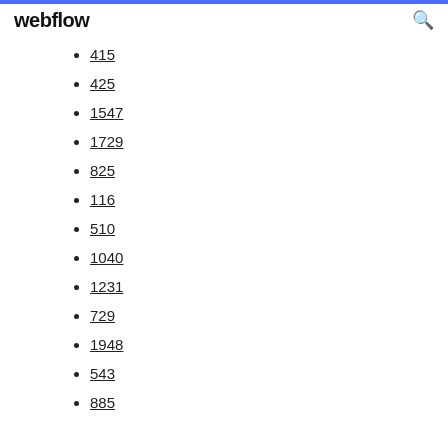webflow
415
425
1547
1729
825
116
510
1040
1231
729
1948
543
885